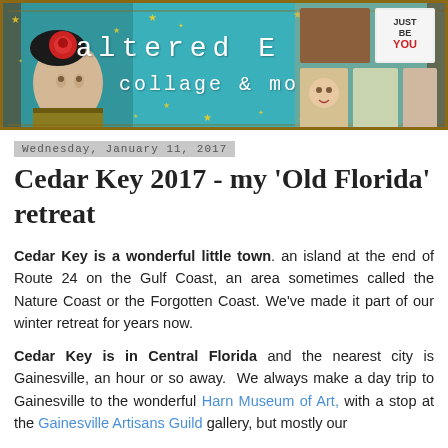[Figure (illustration): Banner for 'altered E art collage & more' blog — teal/turquoise textured background with decorative border, a doll head with red flower on left, collage artwork images on right, white monospace text reading 'altered E art' and 'collage & more' in the center with decorative gold stars]
Wednesday, January 11, 2017
Cedar Key 2017 - my 'Old Florida' retreat
Cedar Key is a wonderful little town. an island at the end of Route 24 on the Gulf Coast, an area sometimes called the Nature Coast or the Forgotten Coast. We've made it part of our winter retreat for years now.
Cedar Key is in Central Florida and the nearest city is Gainesville, an hour or so away. We always make a day trip to Gainesville to the wonderful Harn Museum of Art, with a stop at the Gainesville Artisans Guild gallery, but mostly our